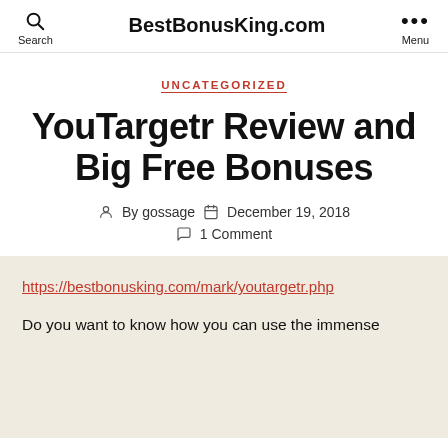BestBonusKing.com
UNCATEGORIZED
YouTargetr Review and Big Free Bonuses
By gossage   December 19, 2018   1 Comment
https://bestbonusking.com/mark/youtargetr.php
Do you want to know how you can use the immense